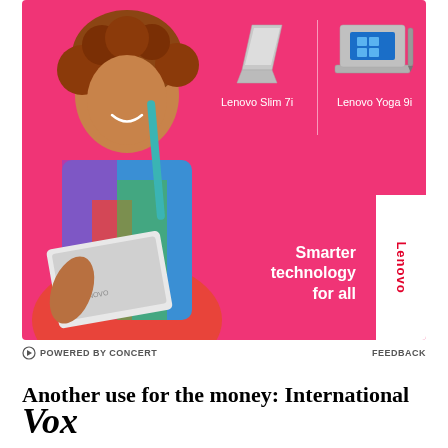[Figure (photo): Lenovo advertisement with a smiling woman holding a white laptop, showing Lenovo Slim 7i and Lenovo Yoga 9i products on a pink/fuchsia background with 'Smarter technology for all' tagline and Lenovo logo]
POWERED BY CONCERT   FEEDBACK
Another use for the money: International
Vox